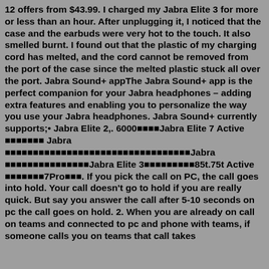12 offers from $43.99. I charged my Jabra Elite 3 for more or less than an hour. After unplugging it, I noticed that the case and the earbuds were very hot to the touch. It also smelled burnt. I found out that the plastic of my charging cord has melted, and the cord cannot be removed from the port of the case since the melted plastic stuck all over the port. Jabra Sound+ appThe Jabra Sound+ app is the perfect companion for your Jabra headphones – adding extra features and enabling you to personalize the way you use your Jabra headphones. Jabra Sound+ currently supports;• Jabra Elite 2,. 6000■■■■Jabra Elite 7 Active ■■■■■■■ Jabra ■■■■■■■■■■■■■■■■■■■■■■■■■■■■■■■■■Jabra ■■■■■■■■■■■■■■■Jabra Elite 3■■■■■■■■■85t.75t Active ■■■■■■■7Pro■■■. If you pick the call on PC, the call goes into hold. Your call doesn't go to hold if you are really quick. But say you answer the call after 5-10 seconds on pc the call goes on hold. 2. When you are already on call on teams and connected to pc and phone with teams, if someone calls you on teams that call takes priority and cuts your ongoing call. The Jabra Elite 3 i...